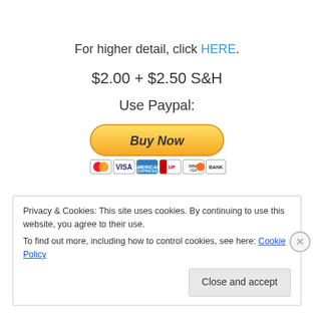For higher detail, click HERE.
$2.00 + $2.50 S&H
Use Paypal:
[Figure (illustration): PayPal Buy Now button with credit card logos (MasterCard, Visa, American Express, UnionPay, Discover, Bank)]
Privacy & Cookies: This site uses cookies. By continuing to use this website, you agree to their use.
To find out more, including how to control cookies, see here: Cookie Policy